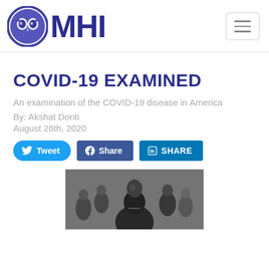MHI
COVID-19 EXAMINED
An examination of the COVID-19 disease in America
By: Akshat Donti
August 26th, 2020
[Figure (other): Social share buttons: Tweet, Share (Facebook), SHARE (LinkedIn)]
[Figure (photo): Black and white photograph of people in a room, with a person in the foreground wearing a dark shirt]